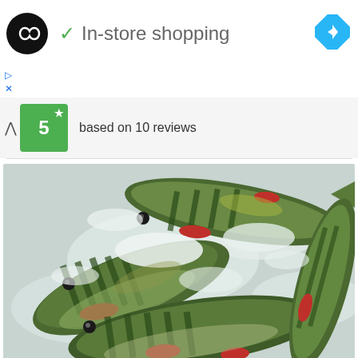[Figure (logo): Black circle logo with infinity/loop symbol in white]
✓ In-store shopping
[Figure (logo): Blue diamond navigation/directions icon]
▷
X
^ 5 ★ based on 10 reviews
[Figure (photo): Painting/photo of multiple perch fish with colorful markings lying on snow/ice]